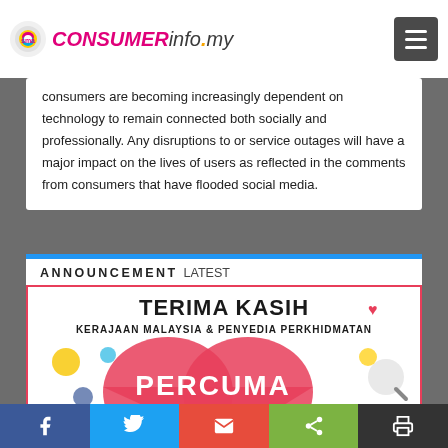CONSUMERinfo.my
consumers are becoming increasingly dependent on technology to remain connected both socially and professionally. Any disruptions to or service outages will have a major impact on the lives of users as reflected in the comments from consumers that have flooded social media.
ANNOUNCEMENT Latest
[Figure (infographic): Announcement graphic showing 'TERIMA KASIH KERAJAAN MALAYSIA & PENYEDIA PERKHIDMATAN' text at top, pink heart shape in center with 'PERCUMA' and partial text below, social media icons scattered around]
Facebook | Twitter | Email | Share | Print